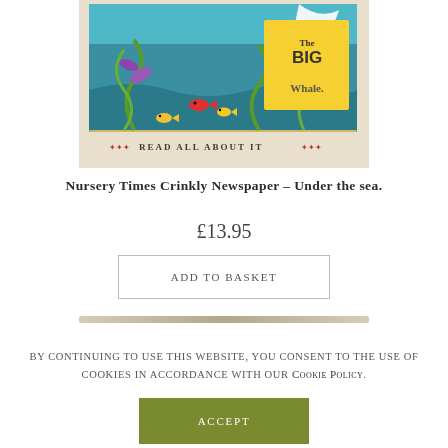[Figure (illustration): Book cover for 'The BIG Whale' Nursery Times Crinkly Newspaper - Under the Sea edition. Teal/blue ocean scene with sea creatures, fish, seaweed, and the text 'READ ALL ABOUT IT' with decorative stars.]
Nursery Times Crinkly Newspaper – Under the sea.
£13.95
Add to basket
By continuing to use this website, you consent to the use of cookies in accordance with our Cookie Policy.
Accept